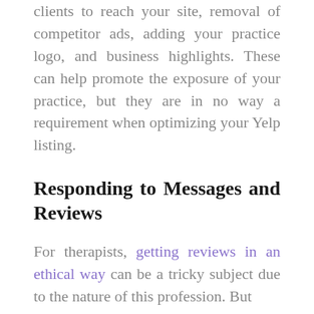clients to reach your site, removal of competitor ads, adding your practice logo, and business highlights. These can help promote the exposure of your practice, but they are in no way a requirement when optimizing your Yelp listing.
Responding to Messages and Reviews
For therapists, getting reviews in an ethical way can be a tricky subject due to the nature of this profession. But